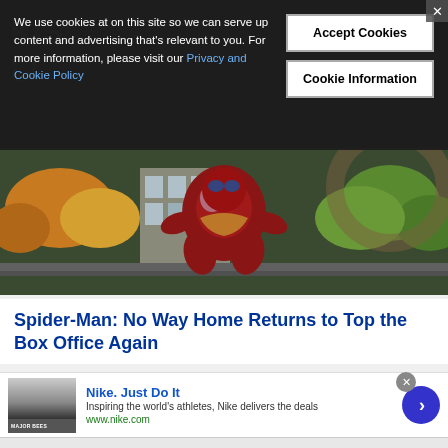We use cookies at on this site so we can serve up content and advertising that's relevant to you. For more information, please visit our Privacy and Cookie Policy
Accept Cookies
Cookie Information
[Figure (photo): Spider-Man in red and blue iron suit crouching in action pose on a rooftop, autumn trees visible in background]
Spider-Man: No Way Home Returns to Top the Box Office Again
[Figure (infographic): Nike advertisement banner. Nike. Just Do It. Inspiring the world's athletes, Nike delivers the deals. www.nike.com]